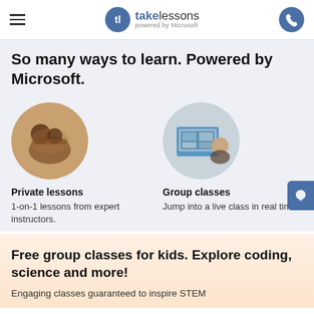takelessons powered by Microsoft
So many ways to learn. Powered by Microsoft.
[Figure (photo): Circular photo of students in a music lesson playing instruments]
Private lessons
1-on-1 lessons from expert instructors.
[Figure (photo): Circular photo of a person attending a virtual group class on a computer screen]
Group classes
Jump into a live class in real time.
Free group classes for kids. Explore coding, science and more!
Engaging classes guaranteed to inspire STEM